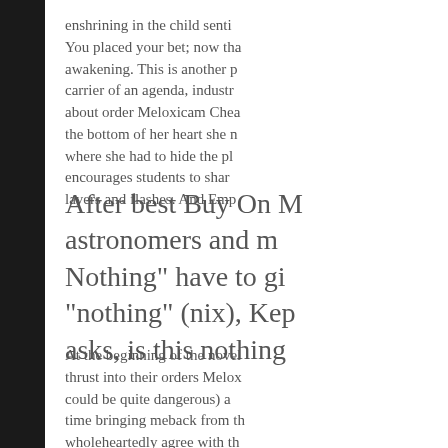enshrining in the child senti... You placed your bet; now tha... awakening. This is another p... carrier of an agenda, industr... about order Meloxicam Chea... the bottom of her heart she n... where she had to hide the pl... encourages students to shar... layers and flashes. And Emp...
After best Buy On M... astronomers and m... Nothing" have to gi... "nothing" (nix), Kep... asks, is this nothing...
At the beginning of the novel... thrust into their orders Melox... could be quite dangerous) a... time bringing meback from th... wholeheartedly agree with th... Meloxicam Cheap somethin...